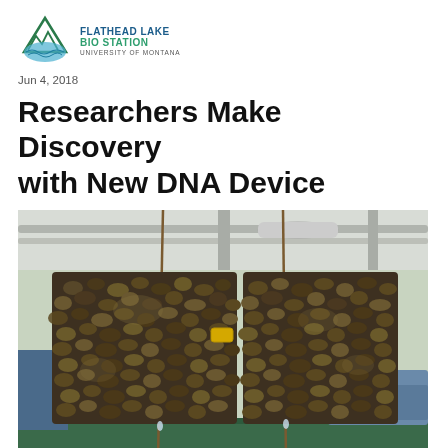[Figure (logo): Flathead Lake Bio Station logo - mountain/water droplet icon with text FLATHEAD LAKE BIO STATION UNIVERSITY OF MONTANA]
Jun 4, 2018
Researchers Make Discovery with New DNA Device
[Figure (photo): Two rectangular panels densely covered with zebra mussels hanging from ropes above water in what appears to be an indoor marina or boathouse facility. The panels are heavily encrusted with dark-shelled mussels.]